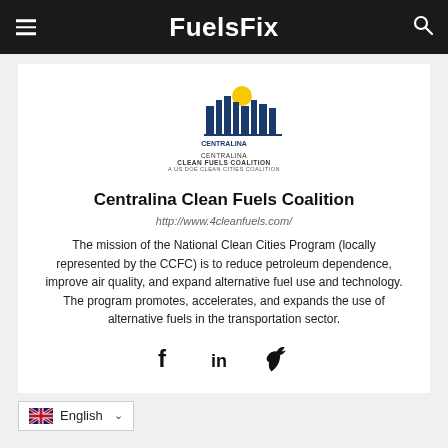FuelsFix
[Figure (logo): Centralina Clean Fuels Coalition logo — city skyline with yellow sun, blue text reading CENTRALINA CLEAN FUELS COALITION A US DOE CLEAN CITIES COALITION]
Centralina Clean Fuels Coalition
http://www.4cleanfuels.com/
The mission of the National Clean Cities Program (locally represented by the CCFC) is to reduce petroleum dependence, improve air quality, and expand alternative fuel use and technology. The program promotes, accelerates, and expands the use of alternative fuels in the transportation sector.
[Figure (infographic): Social media icons: Facebook (f), LinkedIn (in), Twitter (bird)]
English